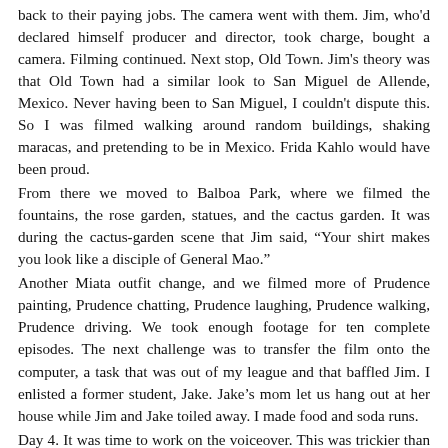back to their paying jobs. The camera went with them. Jim, who'd declared himself producer and director, took charge, bought a camera. Filming continued. Next stop, Old Town. Jim's theory was that Old Town had a similar look to San Miguel de Allende, Mexico. Never having been to San Miguel, I couldn't dispute this. So I was filmed walking around random buildings, shaking maracas, and pretending to be in Mexico. Frida Kahlo would have been proud.
From there we moved to Balboa Park, where we filmed the fountains, the rose garden, statues, and the cactus garden. It was during the cactus-garden scene that Jim said, “Your shirt makes you look like a disciple of General Mao.”
Another Miata outfit change, and we filmed more of Prudence painting, Prudence chatting, Prudence laughing, Prudence walking, Prudence driving. We took enough footage for ten complete episodes. The next challenge was to transfer the film onto the computer, a task that was out of my league and that baffled Jim. I enlisted a former student, Jake. Jake's mom let us hang out at her house while Jim and Jake toiled away. I made food and soda runs.
Day 4. It was time to work on the voiceover. This was trickier than expected and gave me a whole new appreciation for TV commercials. Jim found his directorial mojo and had no trouble voicing his opinion.